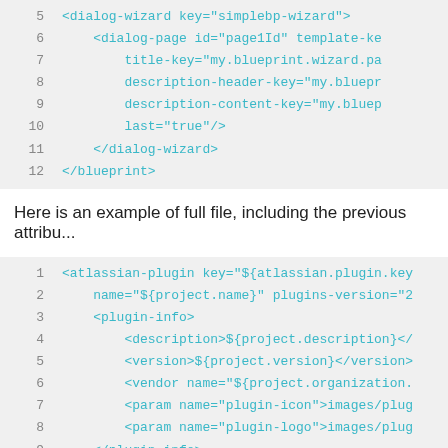[Figure (screenshot): Code block showing XML snippet lines 5-12 with dialog-wizard and blueprint tags in teal monospace font on light gray background]
Here is an example of full file, including the previous attribu...
[Figure (screenshot): Code block showing XML snippet lines 1-11 with atlassian-plugin, plugin-info, description, version, vendor, param, resource tags in teal monospace font on light gray background]